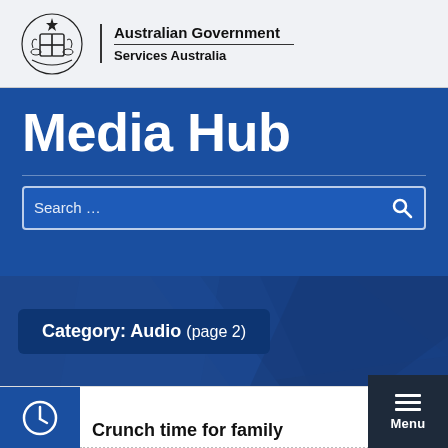[Figure (logo): Australian Government coat of arms crest with kangaroo and emu]
Australian Government
Services Australia
Media Hub
Search ...
Category: Audio (page 2)
Crunch time for family